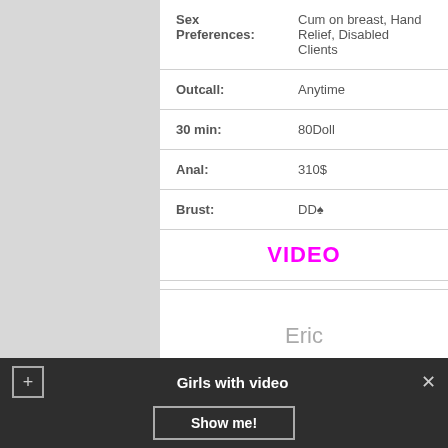| Sex Preferences: | Cum on breast, Hand Relief, Disabled Clients |
| Outcall: | Anytime |
| 30 min: | 80Doll |
| Anal: | 310$ |
| Brust: | DD♠ |
|  | VIDEO |
Independent escorts based in Istanbul, available for out call escort service
Eric
Girls with video  Show me!